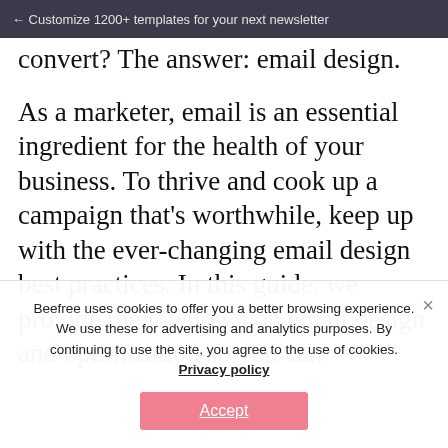← Customize 1200+ templates for your next newsletter
convert? The answer: email design.

As a marketer, email is an essential ingredient for the health of your business. To thrive and cook up a campaign that's worthwhile, keep up with the ever-changing email design best practices. In this guide, we provide the lowdown on email design and optimization so you can
Beefree uses cookies to offer you a better browsing experience. We use these for advertising and analytics purposes. By continuing to use the site, you agree to the use of cookies. Privacy policy
Accept